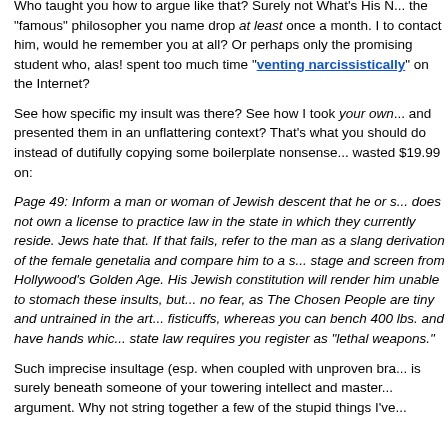Who taught you how to argue like that? Surely not What's His N... the "famous" philosopher you name drop at least once a month. I to contact him, would he remember you at all? Or perhaps only the promising student who, alas! spent too much time "venting narcissistically" on the Internet?
See how specific my insult was there? See how I took your own... and presented them in an unflattering context? That's what you should do instead of dutifully copying some boilerplate nonsense... wasted $19.99 on:
Page 49: Inform a man or woman of Jewish descent that he or s... does not own a license to practice law in the state in which they currently reside. Jews hate that. If that fails, refer to the man as a slang derivation of the female genetalia and compare him to a s... stage and screen from Hollywood's Golden Age. His Jewish constitution will render him unable to stomach these insults, but... no fear, as The Chosen People are tiny and untrained in the art... fisticuffs, whereas you can bench 400 lbs. and have hands whic... state law requires you register as "lethal weapons."
Such imprecise insultage (esp. when coupled with unproven bra... is surely beneath someone of your towering intellect and master... argument. Why not string together a few of the stupid things I've...